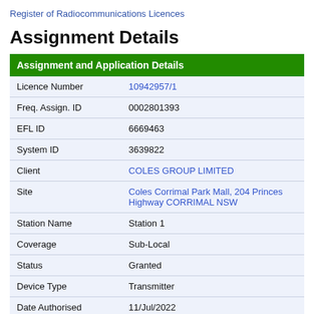Register of Radiocommunications Licences
Assignment Details
| Assignment and Application Details |  |
| --- | --- |
| Licence Number | 10942957/1 |
| Freq. Assign. ID | 0002801393 |
| EFL ID | 6669463 |
| System ID | 3639822 |
| Client | COLES GROUP LIMITED |
| Site | Coles Corrimal Park Mall, 204 Princes Highway CORRIMAL NSW |
| Station Name | Station 1 |
| Coverage | Sub-Local |
| Status | Granted |
| Device Type | Transmitter |
| Date Authorised | 11/Jul/2022 |